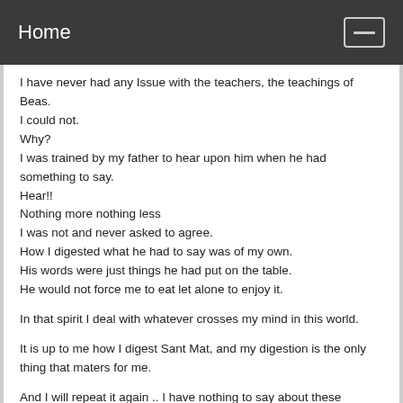Home
I have never had any Issue with the teachers, the teachings of Beas.
I could not.
Why?
I was trained by my father to hear upon him when he had something to say.
Hear!!
Nothing more nothing less
I was not and never asked to agree.
How I digested what he had to say was of my own.
His words were just things he had put on the table.
He would not force me to eat let alone to enjoy it.
In that spirit I deal with whatever crosses my mind in this world.
It is up to me how I digest Sant Mat, and my digestion is the only thing that maters for me.
And I will repeat it again .. I have nothing to say about these teachers and teachings as it is not needed to make up my mind, and I never did.